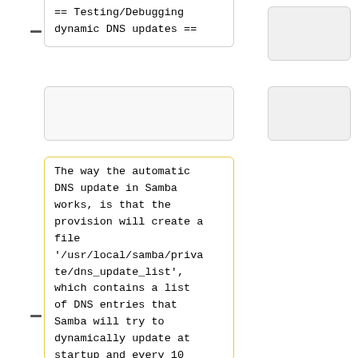== Testing/Debugging dynamic DNS updates ==
The way the automatic DNS update in Samba works, is that the provision will create a file '/usr/local/samba/private/dns_update_list', which contains a list of DNS entries that Samba will try to dynamically update at startup and every 10 minutes thereafter using the 'samba_dnsupdate' utility. Updates will only happen if the DNS entries do not already